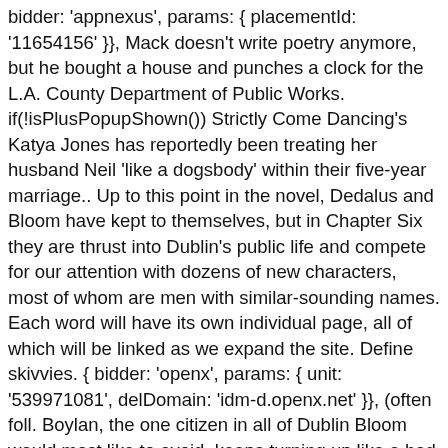bidder: 'appnexus', params: { placementId: '11654156' }}, Mack doesn't write poetry anymore, but he bought a house and punches a clock for the L.A. County Department of Public Works. if(!isPlusPopupShown()) Strictly Come Dancing's Katya Jones has reportedly been treating her husband Neil 'like a dogsbody' within their five-year marriage.. Up to this point in the novel, Dedalus and Bloom have kept to themselves, but in Chapter Six they are thrust into Dublin's public life and compete for our attention with dozens of new characters, most of whom are men with similar-sounding names. Each word will have its own individual page, all of which will be linked as we expand the site. Define skivvies. { bidder: 'openx', params: { unit: '539971081', delDomain: 'idm-d.openx.net' }}, (often foll. Boylan, the one citizen in all of Dublin Bloom would most like to avoid, keeps turning up like a bad penny. then the Roman candle burst and it was like a sigh of O! They are spoken the same way. Dedalus peers at the world through a magnifying glass, Bloom holds up a mirror. Ringo and Mack's study habits were intermittent at best. Mack may or may not have been in a relationship, but no one was really sure—Mack least of all. { bidder: 'criteo', params: { networkId: 7100, publisherSubId: 'cdo_btmslot' }}, My favorite portrait features an old silver-haired gent with thick eyeglasses. Let's not mince words here: Stephen Dedalus is an insufferable prick. name: "criteo" userIds: [{ dogsbody significado, definição dogsbody: 1. a person who has to do all the boring or unpleasant jobs that other people do not want to do 2... {